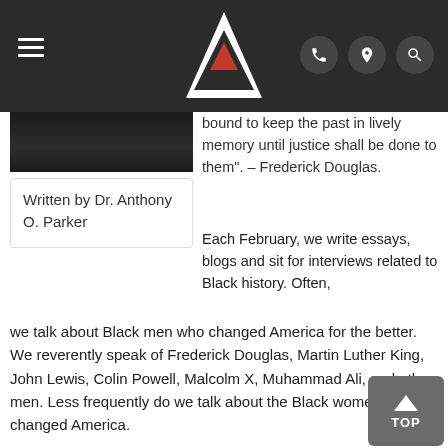[Figure (screenshot): Website navigation bar with hamburger menu, triangle logo with red accent, and phone/location/search icons on dark background]
[Figure (photo): Partial photo of a person in dark clothing, cropped at top]
Written by Dr. Anthony O. Parker
bound to keep the past in lively memory until justice shall be done to them". – Frederick Douglas.
Each February, we write essays, blogs and sit for interviews related to Black history. Often, we talk about Black men who changed America for the better. We reverently speak of Frederick Douglas, Martin Luther King, John Lewis, Colin Powell, Malcolm X, Muhammad Ali, and other men. Less frequently do we talk about the Black women who changed America.
When we discuss Black women in February, we almost always begin with Rosa Parks. Ms. Parks deserves to be mentioned early in the discussion. Most of us know what happened. On